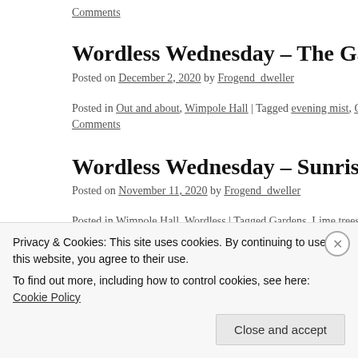Comments
Wordless Wednesday – The Garden of Ev
Posted on December 2, 2020 by Frogend_dweller
Posted in Out and about, Wimpole Hall | Tagged evening mist, Gardens, Pho... Comments
Wordless Wednesday – Sunrise over Wim
Posted on November 11, 2020 by Frogend_dweller
Posted in Wimpole Hall, Wordless | Tagged Gardens, Lime trees, National Tr... Wimpole Hall | 7 Comments
Privacy & Cookies: This site uses cookies. By continuing to use this website, you agree to their use.
To find out more, including how to control cookies, see here: Cookie Policy
Close and accept